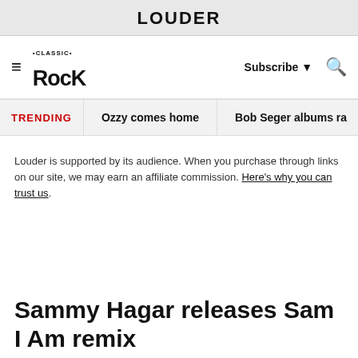LOUDER
Classic Rock | Subscribe | Search
TRENDING   Ozzy comes home   Bob Seger albums ra
Louder is supported by its audience. When you purchase through links on our site, we may earn an affiliate commission. Here's why you can trust us.
Sammy Hagar releases Sam I Am remix